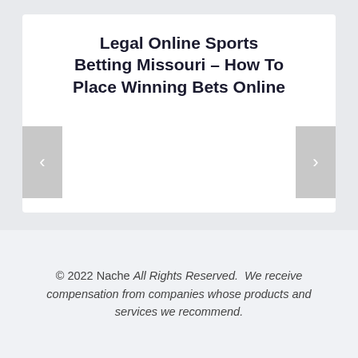Legal Online Sports Betting Missouri – How To Place Winning Bets Online
© 2022 Nache All Rights Reserved.  We receive compensation from companies whose products and services we recommend.